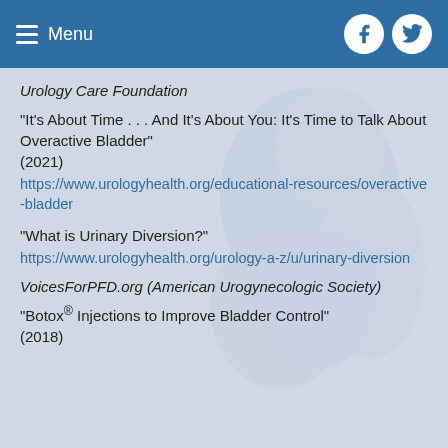Menu
Urology Care Foundation
“It’s About Time . . . And It’s About You: It’s Time to Talk About Overactive Bladder” (2021) https://www.urologyhealth.org/educational-resources/overactive-bladder
“What is Urinary Diversion?” https://www.urologyhealth.org/urology-a-z/u/urinary-diversion
VoicesForPFD.org (American Urogynecologic Society)
“Botox® Injections to Improve Bladder Control” (2018)